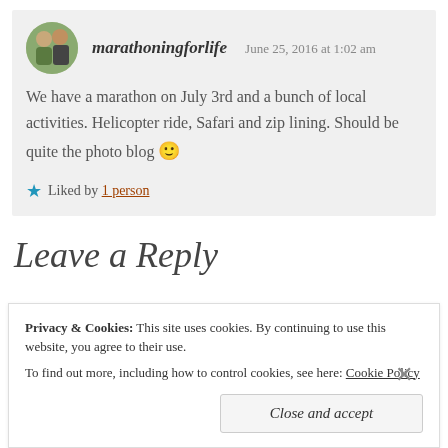[Figure (photo): Avatar photo of a couple, a woman and a man, smiling]
marathoningforlife   June 25, 2016 at 1:02 am
We have a marathon on July 3rd and a bunch of local activities. Helicopter ride, Safari and zip lining. Should be quite the photo blog 🙂
Liked by 1 person
Leave a Reply
Privacy & Cookies: This site uses cookies. By continuing to use this website, you agree to their use. To find out more, including how to control cookies, see here: Cookie Policy